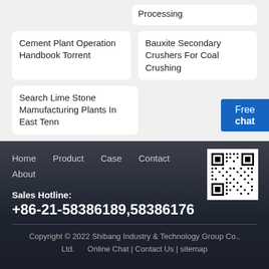Processing
Cement Plant Operation Handbook Torrent
Bauxite Secondary Crushers For Coal Crushing
Search Lime Stone Mamufacturing Plants In East Tenn
Free chat
Home  Product  Case  Contact  About
Sales Hotline:
+86-21-58386189,58386176
Copyright © 2022 Shibang Industry & Technology Group Co., Ltd.   Online Chat | Contact Us | sitemap